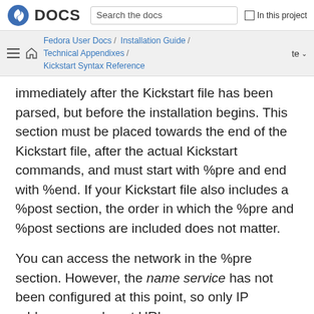Fedora DOCS — Search the docs | In this project
Fedora User Docs / Installation Guide / Technical Appendixes / Kickstart Syntax Reference — te
immediately after the Kickstart file has been parsed, but before the installation begins. This section must be placed towards the end of the Kickstart file, after the actual Kickstart commands, and must start with %pre and end with %end. If your Kickstart file also includes a %post section, the order in which the %pre and %post sections are included does not matter.
You can access the network in the %pre section. However, the name service has not been configured at this point, so only IP addresses work, not URLs.